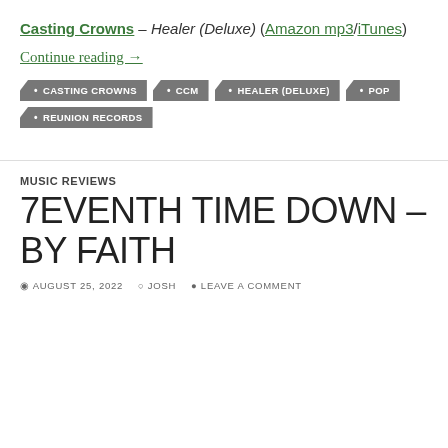Casting Crowns – Healer (Deluxe) (Amazon mp3/iTunes)
Continue reading →
CASTING CROWNS
CCM
HEALER (DELUXE)
POP
REUNION RECORDS
MUSIC REVIEWS
7EVENTH TIME DOWN – BY FAITH
AUGUST 25, 2022  JOSH  LEAVE A COMMENT